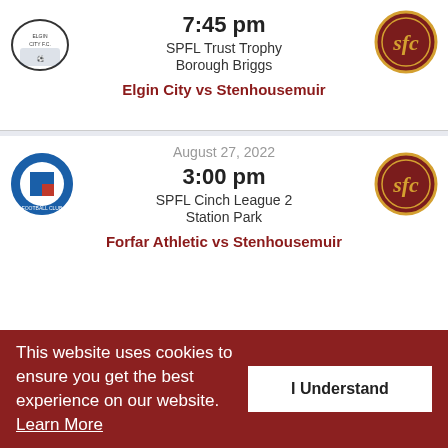7:45 pm
SPFL Trust Trophy
Borough Briggs
Elgin City vs Stenhousemuir
August 27, 2022
3:00 pm
SPFL Cinch League 2
Station Park
Forfar Athletic vs Stenhousemuir
August 28, 2022
2:30 pm
SWF League One
The Falkirk Stadium
Falkirk vs Stenhousemuir Women FC
This website uses cookies to ensure you get the best experience on our website.  Learn More
I Understand